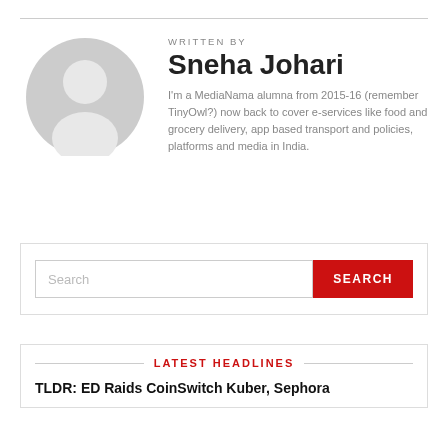[Figure (illustration): Circular avatar placeholder showing a silhouette of a person with grey background]
WRITTEN BY
Sneha Johari
I'm a MediaNama alumna from 2015-16 (remember TinyOwl?) now back to cover e-services like food and grocery delivery, app based transport and policies, platforms and media in India.
Search
LATEST HEADLINES
TLDR: ED Raids CoinSwitch Kuber, Sephora